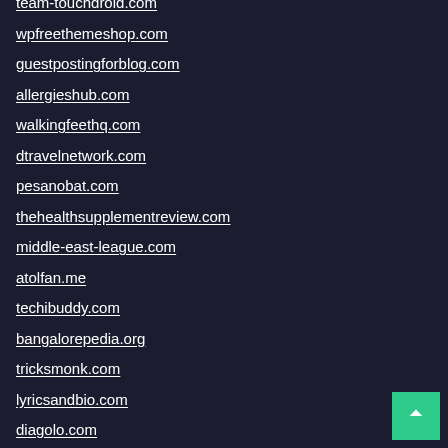team-touchdroid.com
wpfreethemeshop.com
guestpostingforblog.com
allergieshub.com
walkingfeethq.com
dtravelnetwork.com
pesanobat.com
thehealthsupplementreview.com
middle-east-league.com
atolfan.me
techibuddy.com
bangalorepedia.org
tricksmonk.com
lyricsandbio.com
diagolo.com
madamblog.com